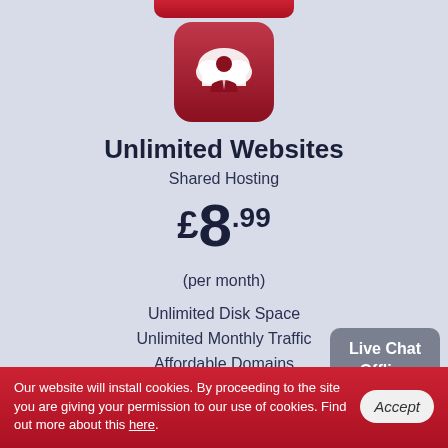[Figure (logo): Red rounded square icon with a cloud and person/business figure in white]
Unlimited Websites
Shared Hosting
£8.99
(per month)
Unlimited Disk Space
Unlimited Monthly Traffic
Affordable Domains
Unlimited Hosted Domain(s)
Unlimited E-mail Accounts
30 day free trial
Live Chat Offline
Our website will install cookies. By proceeding to the site you are giving your permission to our use of cookies. Find out more about this here.